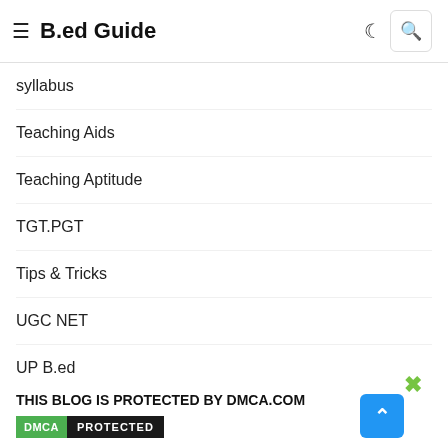B.ed Guide
syllabus
Teaching Aids
Teaching Aptitude
TGT.PGT
Tips & Tricks
UGC NET
UP B.ed
UPTET
West Bengal B.ed
THIS BLOG IS PROTECTED BY DMCA.COM
[Figure (logo): DMCA Protected badge with green DMCA text and dark PROTECTED text]